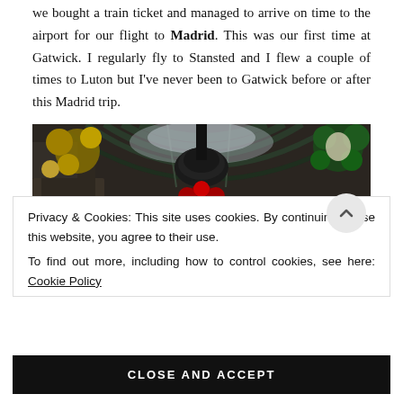we bought a train ticket and managed to arrive on time to the airport for our flight to Madrid. This was our first time at Gatwick. I regularly fly to Stansted and I flew a couple of times to Luton but I've never been to Gatwick before or after this Madrid trip.
[Figure (photo): Interior photo looking up at a large glass-and-iron vaulted ceiling decorated with Christmas wreaths and floral decorations in red, yellow, and green.]
Privacy & Cookies: This site uses cookies. By continuing to use this website, you agree to their use.
To find out more, including how to control cookies, see here: Cookie Policy